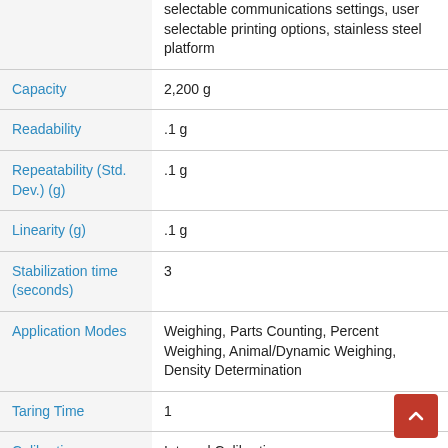| Feature | Value |
| --- | --- |
|  | selectable communications settings, user selectable printing options, stainless steel platform |
| Capacity | 2,200 g |
| Readability | .1 g |
| Repeatability (Std. Dev.) (g) | .1 g |
| Linearity (g) | .1 g |
| Stabilization time (seconds) | 3 |
| Application Modes | Weighing, Parts Counting, Percent Weighing, Animal/Dynamic Weighing, Density Determination |
| Taring Time | 1 |
| Calibration | Internal Calibration |